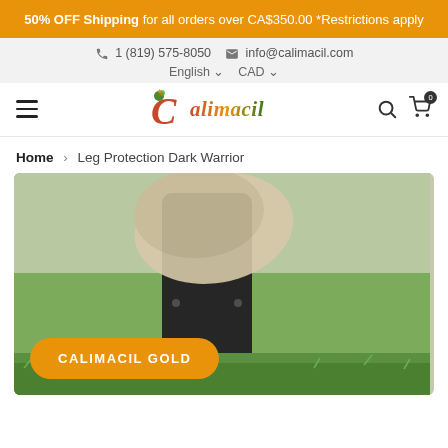50% OFF Shipping for all orders over CA$350.00 *Restrictions apply
1 (819) 575-8050   info@calimacil.com
English   CAD
[Figure (logo): Calimacil logo with dragon illustration and italic stylized text]
Home > Leg Protection Dark Warrior
[Figure (photo): Close-up product photo of Leg Protection Dark Warrior armor piece showing dark foam armor with cream/beige upper section, outdoors on grass background. Orange rounded button overlay reads CALIMACIL GOLD]